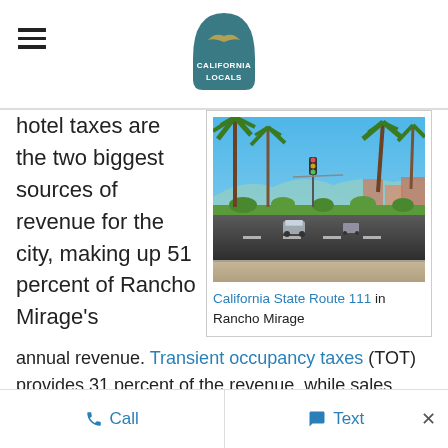California Locals
hotel taxes are the two biggest sources of revenue for the city, making up 51 percent of Rancho Mirage's annual revenue. Transient occupancy taxes (TOT) provides 31 percent of the revenue, while sales taxes,
[Figure (photo): California State Route 111 in Rancho Mirage — palm-tree-lined boulevard with road, traffic signals, and desert landscape under blue sky]
California State Route 111 in Rancho Mirage
Call   Text